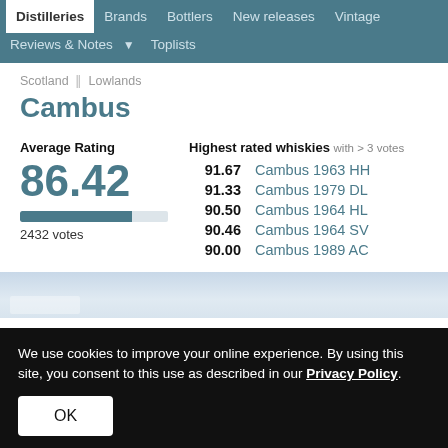Distilleries | Brands | Bottlers | New releases | Vintage | Reviews & Notes | Toplists
Scotland / Lowlands
Cambus
Average Rating
86.42
2432 votes
Highest rated whiskies with > 3 votes
91.67  Cambus 1963 HH
91.33  Cambus 1979 DL
90.50  Cambus 1964 HL
90.46  Cambus 1964 SV
90.00  Cambus 1989 AC
[Figure (photo): Light blue sky/landscape image strip]
We use cookies to improve your online experience. By using this site, you consent to this use as described in our Privacy Policy.
OK